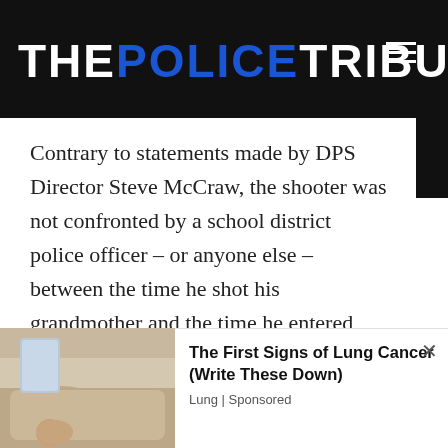THE POLICE TRIBUNE
Contrary to statements made by DPS Director Steve McCraw, the shooter was not confronted by a school district police officer – or anyone else – between the time he shot his grandmother and the time he entered Robb Elementary School at 11:40 a.m., Director Escalon said.
[Figure (photo): Partial image of a person's leg/foot, part of an advertisement]
The First Signs of Lung Cancer (Write These Down)
Lung | Sponsored